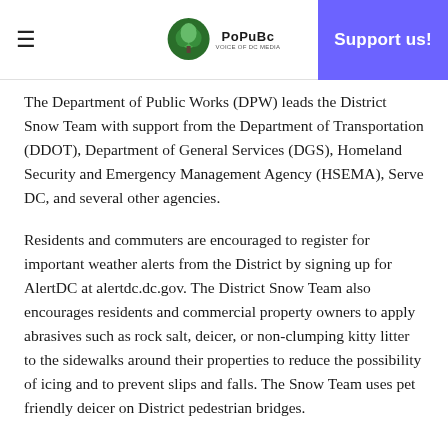≡  PoPuBc  Support us!
The Department of Public Works (DPW) leads the District Snow Team with support from the Department of Transportation (DDOT), Department of General Services (DGS), Homeland Security and Emergency Management Agency (HSEMA), Serve DC, and several other agencies.
Residents and commuters are encouraged to register for important weather alerts from the District by signing up for AlertDC at alertdc.dc.gov. The District Snow Team also encourages residents and commercial property owners to apply abrasives such as rock salt, deicer, or non-clumping kitty litter to the sidewalks around their properties to reduce the possibility of icing and to prevent slips and falls. The Snow Team uses pet friendly deicer on District pedestrian bridges.